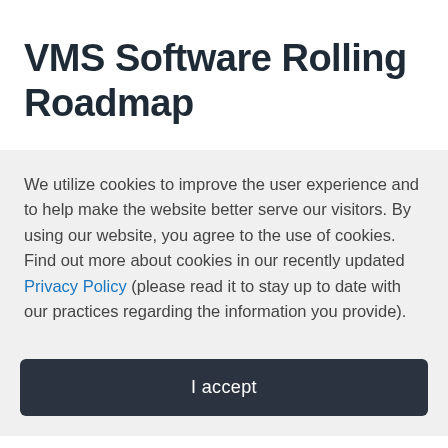VMS Software Rolling Roadmap
We utilize cookies to improve the user experience and to help make the website better serve our visitors. By using our website, you agree to the use of cookies. Find out more about cookies in our recently updated Privacy Policy (please read it to stay up to date with our practices regarding the information you provide).
I accept